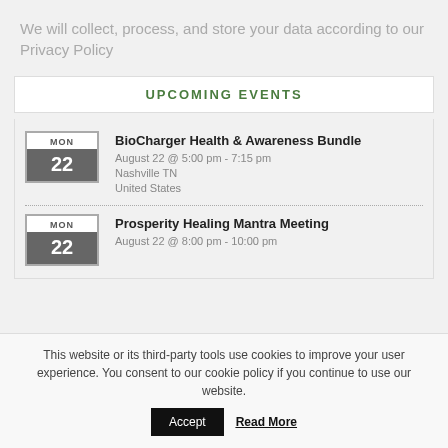We will collect, process, and store your data according to our Privacy Policy
UPCOMING EVENTS
BioCharger Health & Awareness Bundle
August 22 @ 5:00 pm - 7:15 pm
Nashville TN
United States
Prosperity Healing Mantra Meeting
August 22 @ 8:00 pm - 10:00 pm
This website or its third-party tools use cookies to improve your user experience. You consent to our cookie policy if you continue to use our website.